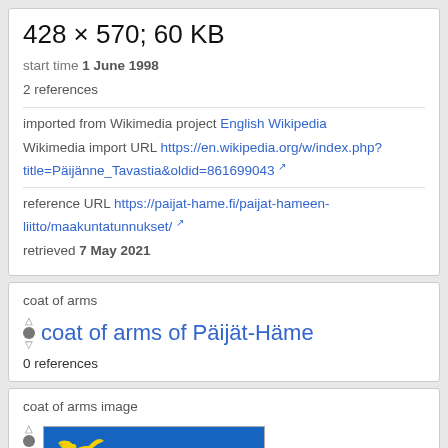428 × 570; 60 KB
start time 1 June 1998
2 references
imported from Wikimedia project English Wikipedia
Wikimedia import URL https://en.wikipedia.org/w/index.php?title=Päijänne_Tavastia&oldid=861699043
reference URL https://paijat-hame.fi/paijat-hameen-liitto/maakuntatunnukset/
retrieved 7 May 2021
coat of arms
coat of arms of Päijät-Häme
0 references
coat of arms image
[Figure (illustration): Coat of arms of Päijät-Häme: yellow figures on blue background showing a bird and a woman's face with flowing hair]